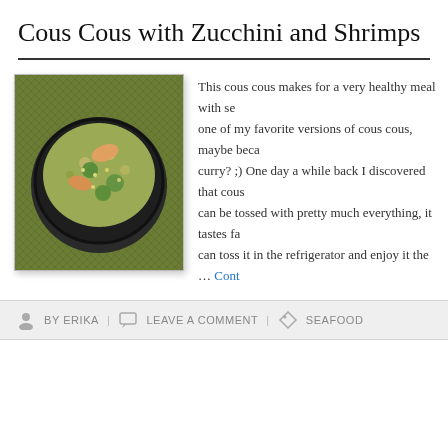Cous Cous with Zucchini and Shrimps
[Figure (photo): A dark bowl filled with cous cous mixed with zucchini, shrimps, and green vegetables, photographed from above on a green mat background]
This cous cous makes for a very healthy meal with se... one of my favorite versions of cous cous, maybe beca... curry? ;) One day a while back I discovered that cous... can be tossed with pretty much everything, it tastes fa... can toss it in the refrigerator and enjoy it the … Cont...
BY ERIKA | LEAVE A COMMENT | SEAFOOD